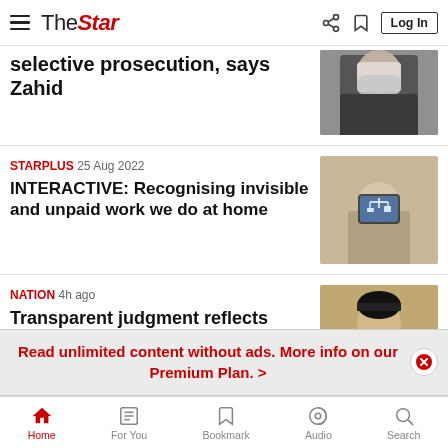The Star - Log In
selective prosecution, says Zahid
STARPLUS  25 Aug 2022
INTERACTIVE: Recognising invisible and unpaid work we do at home
[Figure (photo): Person holding smartphone showing balance scale with house and office building icons]
NATION  4h ago
Transparent judgment reflects
[Figure (photo): Man wearing black songkok (traditional Malay cap)]
Read unlimited content without ads. More info on our Premium Plan. >
Home  For You  Bookmark  Audio  Search